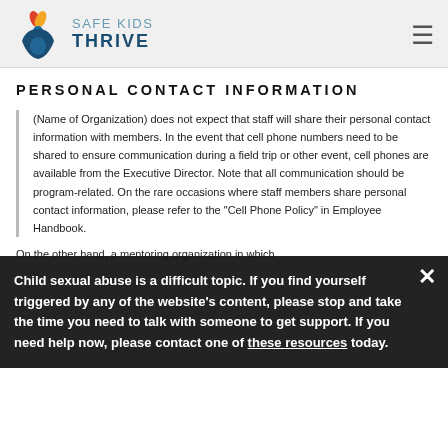Safe Kids Thrive (logo and navigation)
PERSONAL CONTACT INFORMATION
(Name of Organization) does not expect that staff will share their personal contact information with members. In the event that cell phone numbers need to be shared to ensure communication during a field trip or other event, cell phones are available from the Executive Director. Note that all communication should be program-related. On the rare occasions where staff members share personal contact information, please refer to the "Cell Phone Policy" in Employee Handbook.
On the other hand, a mentoring organization in which
Child sexual abuse is a difficult topic. If you find yourself triggered by any of the website's content, please stop and take the time you need to talk with someone to get support. If you need help now, please contact one of these resources today.